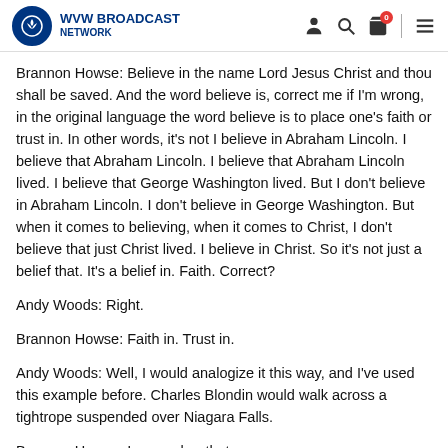WVW BROADCAST NETWORK
Brannon Howse: Believe in the name Lord Jesus Christ and thou shall be saved. And the word believe is, correct me if I'm wrong, in the original language the word believe is to place one's faith or trust in. In other words, it's not I believe in Abraham Lincoln. I believe that Abraham Lincoln. I believe that Abraham Lincoln lived. I believe that George Washington lived. But I don't believe in Abraham Lincoln. I don't believe in George Washington. But when it comes to believing, when it comes to Christ, I don't believe that just Christ lived. I believe in Christ. So it's not just a belief that. It's a belief in. Faith. Correct?
Andy Woods: Right.
Brannon Howse: Faith in. Trust in.
Andy Woods: Well, I would analogize it this way, and I've used this example before. Charles Blondin would walk across a tightrope suspended over Niagara Falls.
Brannon Howse: I remember that.
Andy Woods: And at some point he got so good at it he could push